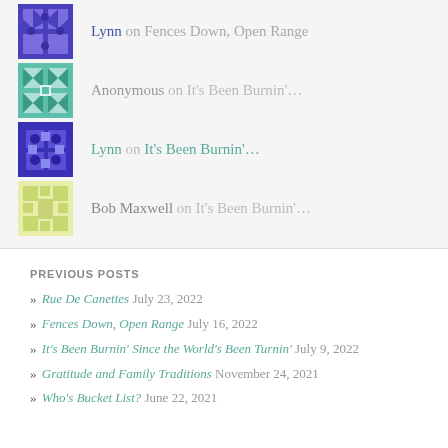Lynn on Fences Down, Open Range
Anonymous on It’s Been Burnin’…
Lynn on It’s Been Burnin’…
Bob Maxwell on It’s Been Burnin’…
PREVIOUS POSTS
Rue De Canettes  July 23, 2022
Fences Down, Open Range  July 16, 2022
It’s Been Burnin’ Since the World’s Been Turnin’  July 9, 2022
Gratitude and Family Traditions  November 24, 2021
Who’s Bucket List?  June 22, 2021